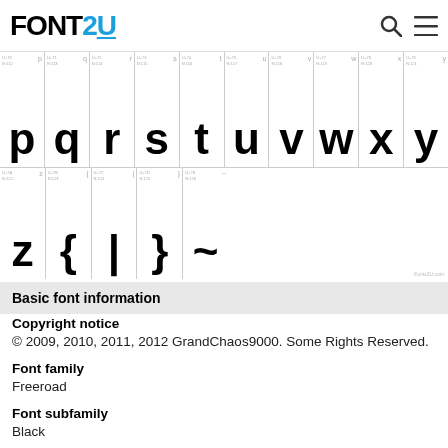FONTS2U (logo)
[Figure (illustration): Font character preview grid showing lowercase letters p q r s t u v w x y (row 1) and z { | } ~ (row 2) in a heavy black display font called Freeroad Black, with small metadata codes above each character.]
Basic font information
Copyright notice
© 2009, 2010, 2011, 2012 GrandChaos9000. Some Rights Reserved.
Font family
Freeroad
Font subfamily
Black
Unique subfamily identification